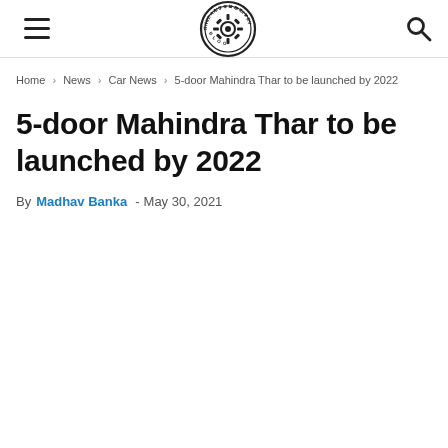The Automotive Blog - navigation header with hamburger menu, logo, and search icon
Home > News > Car News > 5-door Mahindra Thar to be launched by 2022
5-door Mahindra Thar to be launched by 2022
By Madhav Banka - May 30, 2021